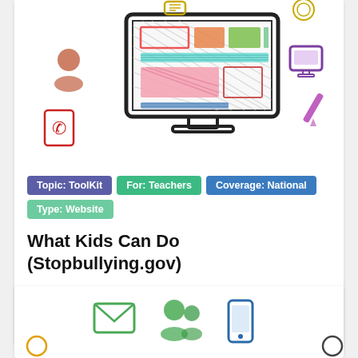[Figure (illustration): Colorful hand-drawn style illustration of a computer monitor with colorful website blocks on screen, surrounded by small icons: a person/user icon (red-brown), a phone/call icon (red), a pencil icon (purple), a monitor icon (purple), and a chat/message icon at top.]
Topic: ToolKit
For: Teachers
Coverage: National
Type: Website
What Kids Can Do (Stopbullying.gov)
Find out more
[Figure (illustration): Partial view of a second card below showing colorful icons: green envelope/mail icon, green group of people icon, blue mobile phone icon, and partial yellow and dark icons at edges.]